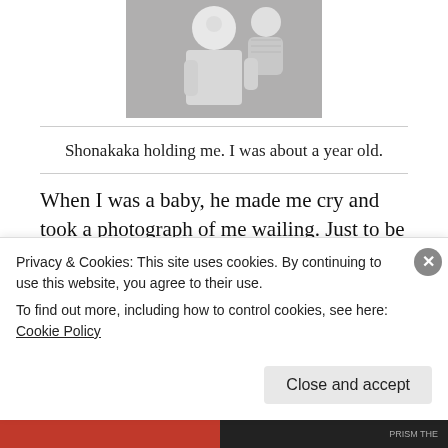[Figure (photo): Black and white photograph of Shonakaka holding a baby approximately one year old]
Shonakaka holding me. I was about a year old.
When I was a baby, he made me cry and took a photograph of me wailing. Just to be contrary, he said. Why should I be happy in every shot? From his travels abroad, he brought us back chocolates and other goodies that were non-existent
Privacy & Cookies: This site uses cookies. By continuing to use this website, you agree to their use.
To find out more, including how to control cookies, see here: Cookie Policy